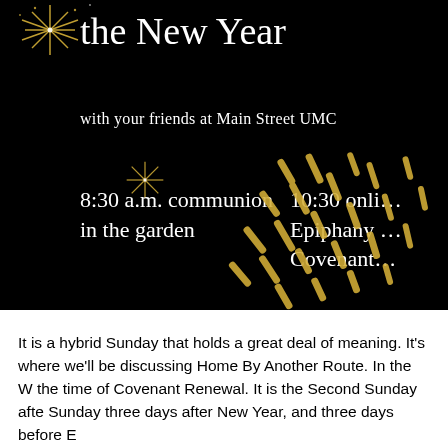[Figure (illustration): Black background New Year celebration flyer showing 'the New Year' title text with sparkle/firework decorations in gold/white, subtitle 'with your friends at Main Street UMC', and two service times: '8:30 a.m. communion in the garden' and '10:30 online Epiphany Covenant', with gold confetti streaks.]
It is a hybrid Sunday that holds a great deal of meaning. It's where we'll be discussing Home By Another Route. In the W the time of Covenant Renewal. It is the Second Sunday afte Sunday three days after New Year, and three days before E